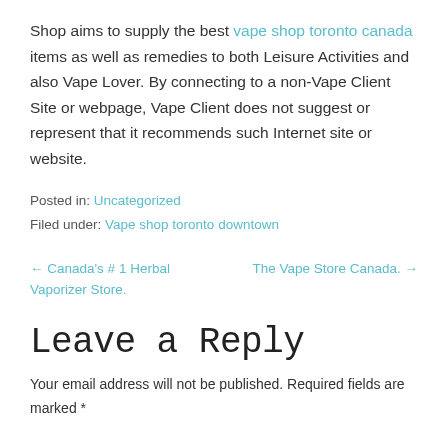Shop aims to supply the best vape shop toronto canada items as well as remedies to both Leisure Activities and also Vape Lover. By connecting to a non-Vape Client Site or webpage, Vape Client does not suggest or represent that it recommends such Internet site or website.
Posted in: Uncategorized
Filed under: Vape shop toronto downtown
← Canada's # 1 Herbal Vaporizer Store.
The Vape Store Canada. →
Leave a Reply
Your email address will not be published. Required fields are marked *